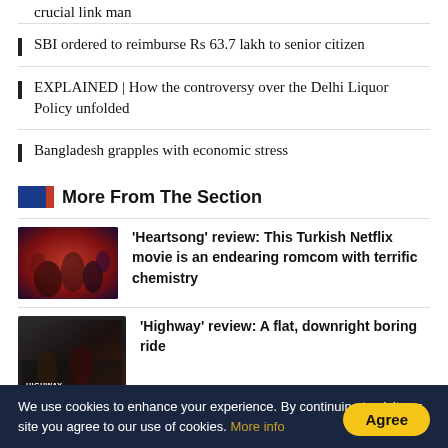crucial link man
SBI ordered to reimburse Rs 63.7 lakh to senior citizen
EXPLAINED | How the controversy over the Delhi Liquor Policy unfolded
Bangladesh grapples with economic stress
More From The Section
[Figure (photo): Movie poster for Heartsong - group of people in dramatic pose with red and dark tones]
'Heartsong' review: This Turkish Netflix movie is an endearing romcom with terrific chemistry
[Figure (photo): Movie poster for Highway - dark tones with figures standing, Highway text visible]
'Highway' review: A flat, downright boring ride
We use cookies to enhance your experience. By continuing to visit our site you agree to our use of cookies. More info